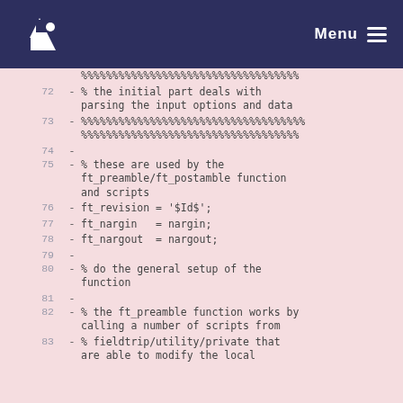Menu
Code listing lines 72-83:
72 - %%%%%%%%%%%%%%%%%%%%%%%%%%%%%%%%%%%
% the initial part deals with parsing the input options and data
73 - %%%%%%%%%%%%%%%%%%%%%%%%%%%%%%%%%%%
%%%%%%%%%%%%%%%%%%%%%%%%%%%%%%%%%%%
74 -
75 - % these are used by the ft_preamble/ft_postamble function and scripts
76 - ft_revision = '$Id$';
77 - ft_nargin   = nargin;
78 - ft_nargout  = nargout;
79 -
80 - % do the general setup of the function
81 -
82 - % the ft_preamble function works by calling a number of scripts from
83 - % fieldtrip/utility/private that are able to modify the local